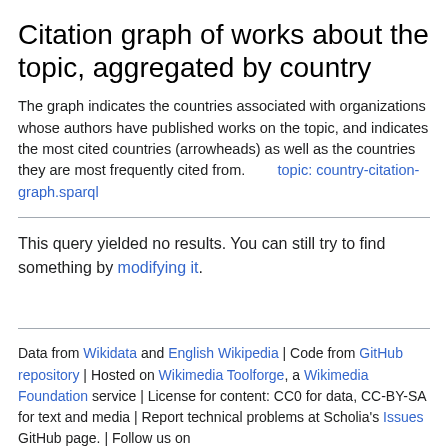Citation graph of works about the topic, aggregated by country
The graph indicates the countries associated with organizations whose authors have published works on the topic, and indicates the most cited countries (arrowheads) as well as the countries they are most frequently cited from.    topic: country-citation-graph.sparql
This query yielded no results. You can still try to find something by modifying it.
Data from Wikidata and English Wikipedia | Code from GitHub repository | Hosted on Wikimedia Toolforge, a Wikimedia Foundation service | License for content: CC0 for data, CC-BY-SA for text and media | Report technical problems at Scholia's Issues GitHub page. | Follow us on